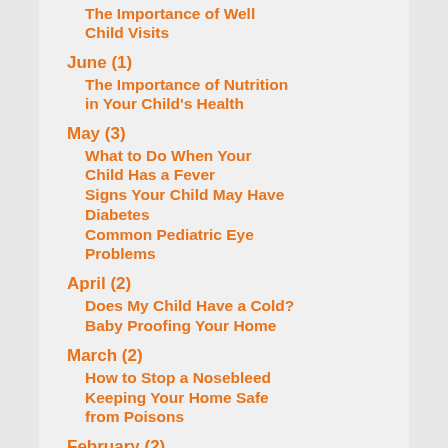The Importance of Well Child Visits
June (1)
The Importance of Nutrition in Your Child's Health
May (3)
What to Do When Your Child Has a Fever
Signs Your Child May Have Diabetes
Common Pediatric Eye Problems
April (2)
Does My Child Have a Cold?
Baby Proofing Your Home
March (2)
How to Stop a Nosebleed
Keeping Your Home Safe from Poisons
February (2)